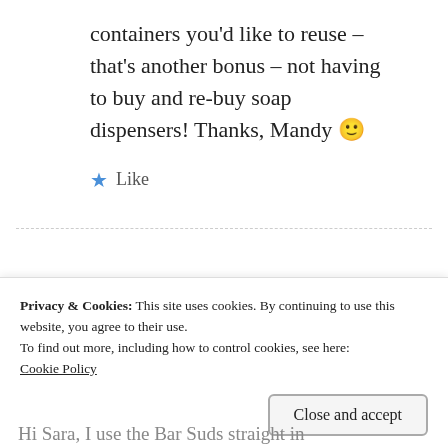containers you'd like to reuse – that's another bonus – not having to buy and re-buy soap dispensers! Thanks, Mandy 🙂
★ Like
Privacy & Cookies: This site uses cookies. By continuing to use this website, you agree to their use.
To find out more, including how to control cookies, see here:
Cookie Policy
Close and accept
Hi Sara, I use the Bar Suds straight in